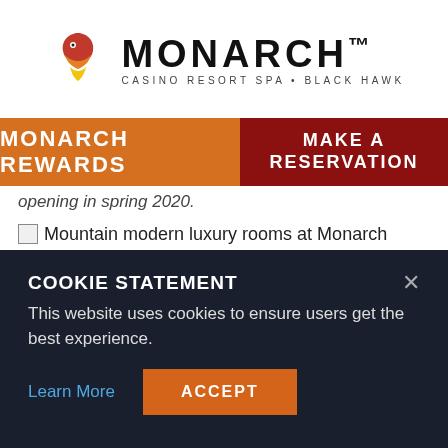[Figure (logo): Monarch Casino Resort Spa Black Hawk logo with stylized bird icon in red/orange/yellow and bold MONARCH wordmark with tagline CASINO RESORT SPA • BLACK HAWK]
MONARCH REWARDS | MAKE A RESERVATION
opening in spring 2020.
[Figure (photo): Broken image placeholder: Mountain modern luxury rooms at Monarch Casino Resort Spa]
COOKIE STATEMENT
This website uses cookies to ensure users get the best experience.
Learn More  ACCEPT